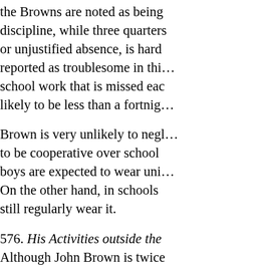the Browns are noted as being strict in matters of discipline, while three quarters say that truancy, or unjustified absence, is hardly ever a reason for discipline, is hardly ever reported as troublesome in this group, possibly because the school work that is missed each time he stays away is likely to be less than a fortnight.
Brown is very unlikely to neglect his homework. He is to be cooperative over school uniform when the boys are expected to wear uniform in their school. On the other hand, in schools where uniform is worn he still regularly wear it.
576. His Activities outside the School. Although John Brown is twice as likely as Jones or Robinson to have homework to do, he is equally likely to be doing some kind of out of school paid work, with a paper round as the probable choice. The majority of boys in all three groups have some employment of this kind; but, unlike the Jones or Robinson of playing fields, status symbols, still a distinction which only carries consideration. Similarly, he has a considerably better chance of being a school prefect; but, even so, the majority were, at the time our census was taken, members of no school clubs or societies while a clear